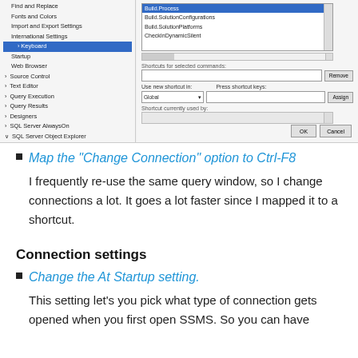[Figure (screenshot): Visual Studio/SSMS Options dialog screenshot showing keyboard settings and a list with Build.Process selected, with shortcut key assignment UI elements including Global dropdown, Press shortcut keys field, Assign and Remove buttons, and OK/Cancel buttons.]
Map the “Change Connection” option to Ctrl-F8
I frequently re-use the same query window, so I change connections a lot. It goes a lot faster since I mapped it to a shortcut.
Connection settings
Change the At Startup setting.
This setting let’s you pick what type of connection gets opened when you first open SSMS. So you can have